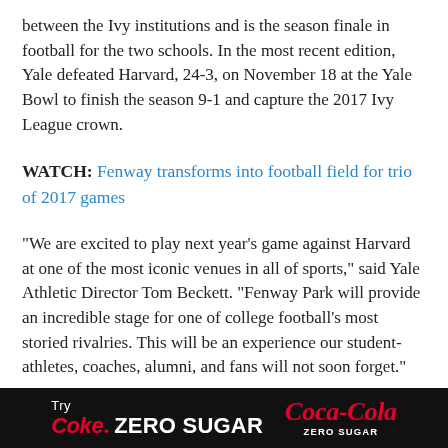between the Ivy institutions and is the season finale in football for the two schools. In the most recent edition, Yale defeated Harvard, 24-3, on November 18 at the Yale Bowl to finish the season 9-1 and capture the 2017 Ivy League crown.
WATCH: Fenway transforms into football field for trio of 2017 games
"We are excited to play next year's game against Harvard at one of the most iconic venues in all of sports," said Yale Athletic Director Tom Beckett. "Fenway Park will provide an incredible stage for one of college football's most storied rivalries. This will be an experience our student-athletes, coaches, alumni, and fans will not soon forget."
Fenway Park has a long history with football dating back to its
[Figure (other): Coca-Cola Coke Zero Sugar advertisement banner with black background, red Coke Zero Sugar text and Coca-Cola logo]